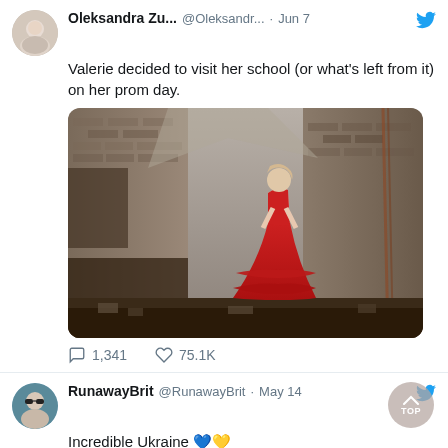Oleksandra Zu... @Oleksandr... · Jun 7
Valerie decided to visit her school (or what's left from it) on her prom day.
[Figure (photo): Young woman in a red ballgown standing in a bombed-out, burned school building with destroyed brick walls and rubble around her.]
1,341   75.1K
RunawayBrit @RunawayBrit · May 14
Incredible Ukraine 💙💛
Scott Bryan @scottygb · May 14
A reminder that the Ukrainian commentator for #Eurovision,